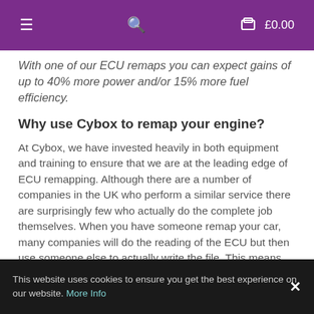≡  🔍  🛒 £0.00
With one of our ECU remaps you can expect gains of up to 40% more power and/or 15% more fuel efficiency.
Why use Cybox to remap your engine?
At Cybox, we have invested heavily in both equipment and training to ensure that we are at the leading edge of ECU remapping. Although there are a number of companies in the UK who perform a similar service there are surprisingly few who actually do the complete job themselves. When you have someone remap your car, many companies will do the reading of the ECU but then use someone else to actually write the file. This means that you will have no idea of who is doing the job of actually programming your car – In some cases, they may not even be located in this country!
We do the complete job in conjunction with our trusted UK based technical...
This website uses cookies to ensure you get the best experience on our website. More Info